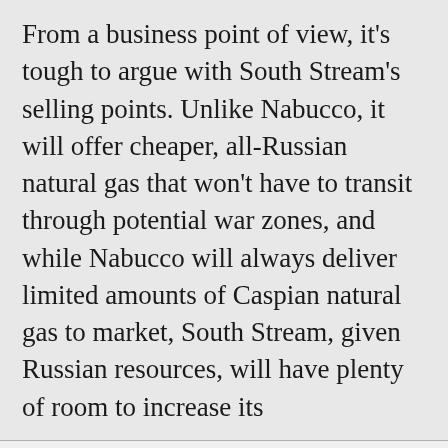From a business point of view, it's tough to argue with South Stream's selling points. Unlike Nabucco, it will offer cheaper, all-Russian natural gas that won't have to transit through potential war zones, and while Nabucco will always deliver limited amounts of Caspian natural gas to market, South Stream, given Russian resources, will have plenty of room to increase its
This Site Uses Cookies
This site, like many others, uses small files called cookies to help us improve and customize your experience. Learn more about how we use cookies in our cookie policy.
Learn more about cookies    OK